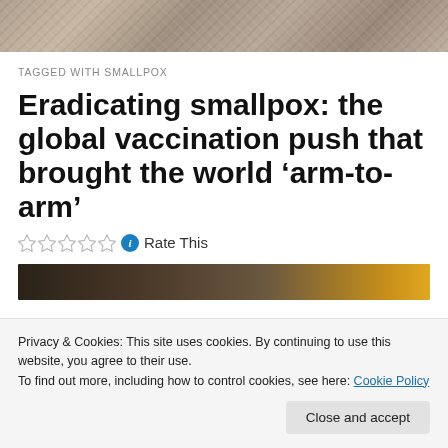[Figure (photo): Decorative map/paper texture image at top of page header]
TAGGED WITH SMALLPOX
Eradicating smallpox: the global vaccination push that brought the world ‘arm-to-arm’
Rate This
[Figure (photo): Article image strip partially visible]
Privacy & Cookies: This site uses cookies. By continuing to use this website, you agree to their use.
To find out more, including how to control cookies, see here: Cookie Policy
Close and accept